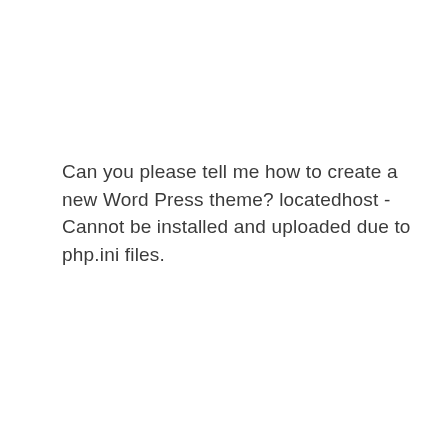Can you please tell me how to create a new Word Press theme? locatedhost - Cannot be installed and uploaded due to php.ini files.